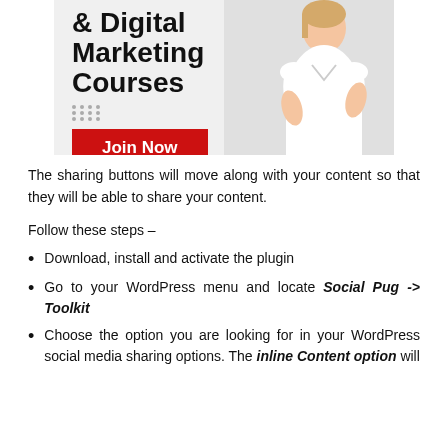[Figure (illustration): Promotional banner for Digital Marketing Courses showing bold text '& Digital Marketing Courses', a red 'Join Now' button, decorative dots, and a woman with arms crossed on the right side against a light grey background.]
The sharing buttons will move along with your content so that they will be able to share your content.
Follow these steps –
Download, install and activate the plugin
Go to your WordPress menu and locate Social Pug -> Toolkit
Choose the option you are looking for in your WordPress social media sharing options. The inline Content option will